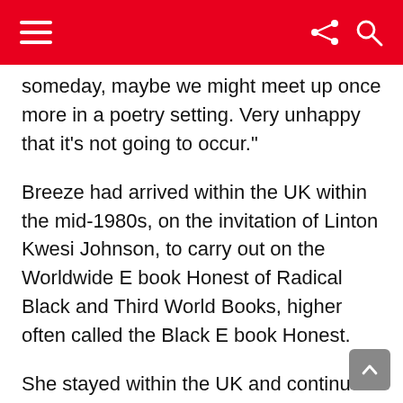someday, maybe we might meet up once more in a poetry setting. Very unhappy that it's not going to occur."
Breeze had arrived within the UK within the mid-1980s, on the invitation of Linton Kwesi Johnson, to carry out on the Worldwide E book Honest of Radical Black and Third World Books, higher often called the Black E book Honest.
She stayed within the UK and continued to show, write and carry out whereas splitting her time between Leicester and Jamaica in her later years. She additionally labored as a director and